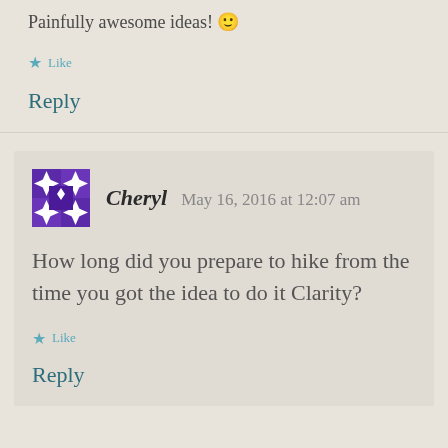Painfully awesome ideas! 🙂
Like
Reply
Cheryl   May 16, 2016 at 12:07 am
How long did you prepare to hike from the time you got the idea to do it Clarity?
Like
Reply